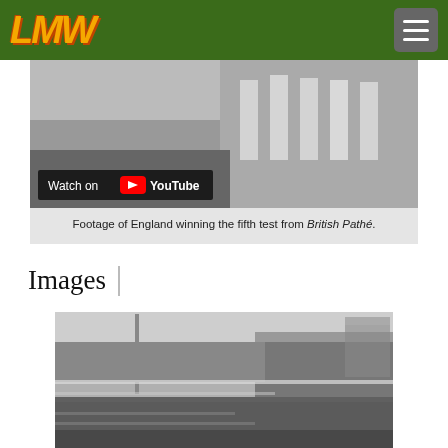LMW (logo) with navigation menu button
[Figure (screenshot): Video thumbnail showing cricket players in white, with 'Watch on YouTube' overlay banner at bottom left]
Footage of England winning the fifth test from British Pathé.
Images
[Figure (photo): Black and white photograph of a cricket ground with large crowd filling stands, a tall pole/mast visible, and a pavilion structure on the right side]